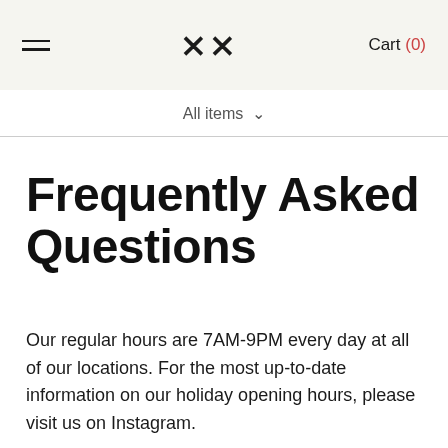≡  ΧΧ  Cart (0)
All items ∨
Frequently Asked Questions
Our regular hours are 7AM-9PM every day at all of our locations. For the most up-to-date information on our holiday opening hours, please visit us on Instagram.